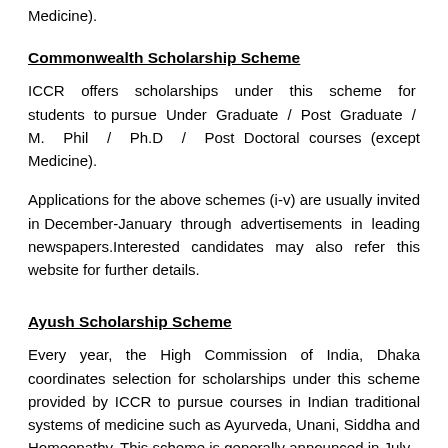Medicine).
Commonwealth Scholarship Scheme
ICCR offers scholarships under this scheme for students to pursue Under Graduate / Post Graduate / M. Phil / Ph.D / Post Doctoral courses (except Medicine).
Applications for the above schemes (i-v) are usually invited in December-January through advertisements in leading newspapers.Interested candidates may also refer this website for further details.
Ayush Scholarship Scheme
Every year, the High Commission of India, Dhaka coordinates selection for scholarships under this scheme provided by ICCR to pursue courses in Indian traditional systems of medicine such as Ayurveda, Unani, Siddha and Homeopathy. This scheme is generally announced in July.
Applicants for all the above schemes are expected to have proficiency in English and minimum 60 percent marks or GPA